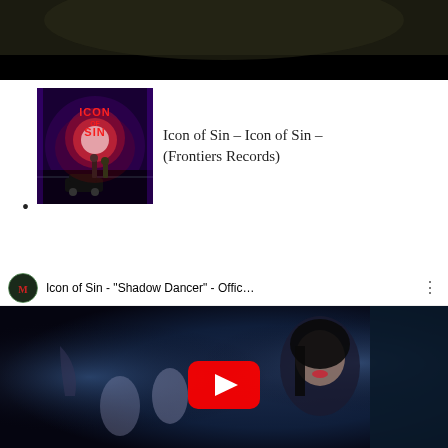[Figure (photo): Top portion of a dark concert or stage photo with dark background]
Icon of Sin – Icon of Sin – (Frontiers Records)
[Figure (screenshot): YouTube video embed: Icon of Sin - "Shadow Dancer" - Offic... with play button overlay, showing a woman holding a wine glass]